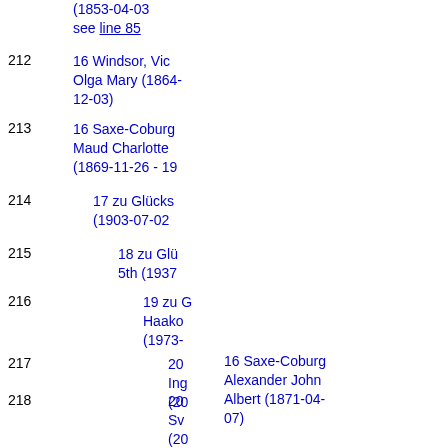(1853-04-03 see line 85
212   16 Windsor, Vic Olga Mary (1864- 12-03)
213   16 Saxe-Coburg Maud Charlotte (1869-11-26 - 19
214   17 zu Glücks (1903-07-02
215   18 zu Glü 5th (1937
216   19 zu G Haako (1973-
217   20 Ing (20
218   20 Sv (20
219   16 Saxe-Coburg Alexander John Albert (1871-04- 07)